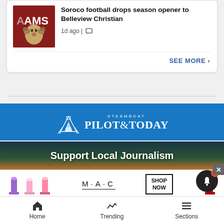[Figure (photo): Ram mascot photo with red background and text 'AMS']
Soroco football drops season opener to Belleview Christian
1d ago | [comment icon]
SEE MORE >
[Figure (logo): Steamboat Pilot & Today logo on blue background]
Support Local Journalism
[Figure (screenshot): M·A·C cosmetics advertisement with lipsticks and SHOP NOW button]
Home | Trending | Sections